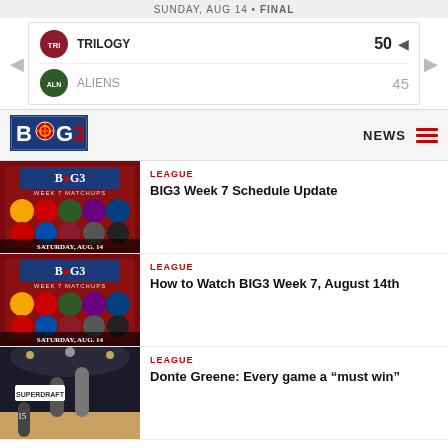SUNDAY, AUG 14 • FINAL
| Team | Score |
| --- | --- |
| TRILOGY | 50 |
| ALIENS | 45 |
[Figure (logo): BIG3 basketball league logo]
NEWS
LEAGUE
[Figure (photo): BIG3 Week 7 Matchups graphic - Saturday, Aug. 14, 1PT CBS | 3PT Triller FITE]
BIG3 Week 7 Schedule Update
LEAGUE
[Figure (photo): BIG3 Week 7 Matchups graphic - Saturday, Aug. 14, 1PT CBS | 3PT Triller FITE]
How to Watch BIG3 Week 7, August 14th
LEAGUE
[Figure (photo): Basketball player dunking at arena with Superdraft advertising board]
Donte Greene: Every game a "must win"